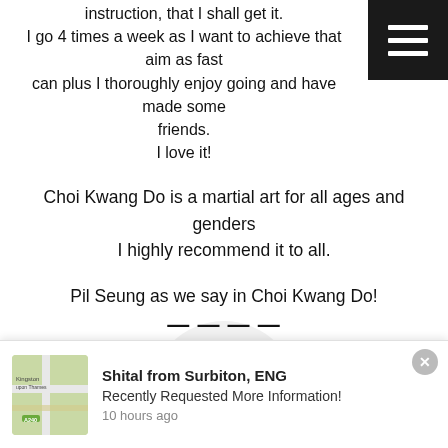instruction, that I shall get it.
I go 4 times a week as I want to achieve that aim as fast as I can plus I thoroughly enjoy going and have made some friends.
I love it!
Choi Kwang Do is a martial art for all ages and genders
I highly recommend it to all.
Pil Seung as we say in Choi Kwang Do!
[Figure (logo): Google 'G' logo on a light grey circular background]
Shital from Surbiton, ENG
Recently Requested More Information!
10 hours ago